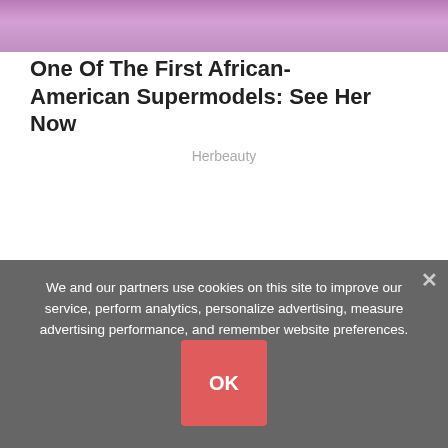[Figure (photo): Partial photo of a person wearing a pink/purple knit or textured outfit, cropped to show only the top portion]
One Of The First African-American Supermodels: See Her Now
Herbeauty
We and our partners use cookies on this site to improve our service, perform analytics, personalize advertising, measure advertising performance, and remember website preferences.